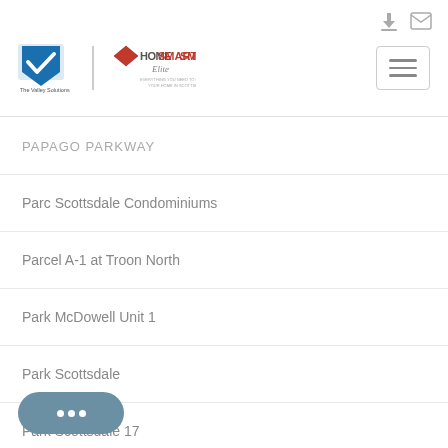[Figure (logo): The Valley Solutions Team and HomeSmart Elite Group logos]
PAPAGO PARKWAY
Parc Scottsdale Condominiums
Parcel A-1 at Troon North
Park McDowell Unit 1
Park Scottsdale
Park Scottsdale 17
…illage